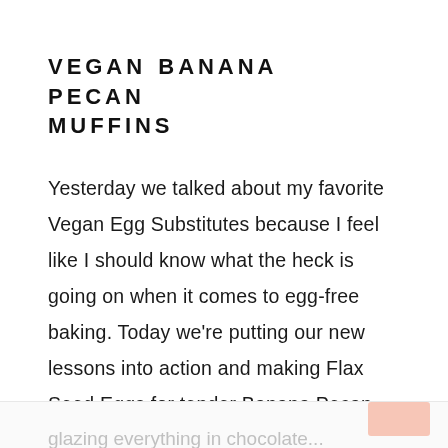VEGAN BANANA PECAN MUFFINS
Yesterday we talked about my favorite Vegan Egg Substitutes because I feel like I should know what the heck is going on when it comes to egg-free baking. Today we're putting our new lessons into action and making Flax Seed Eggs for tender Banana Pecan Muffins. It's simple!  While we aren't necessarily
glazing everything in chocolate...